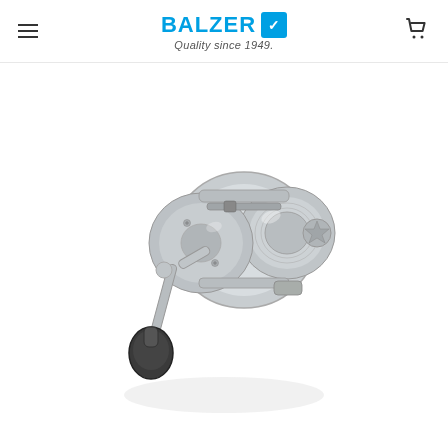BALZER Quality since 1949.
[Figure (photo): Silver/chrome fishing reel (conventional/multiplier style) with a black rubber knob handle, shown at an angle on white background. The reel has a metallic silver body with a crank arm extending downward-left and a round spool on the right side.]